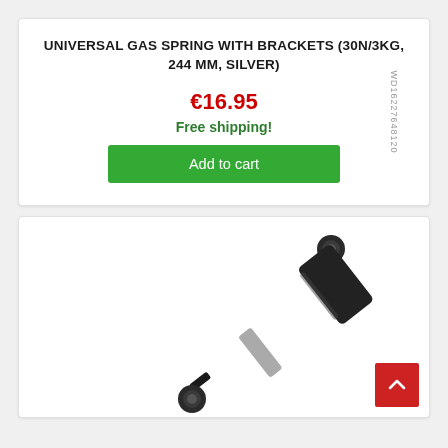UNIVERSAL GAS SPRING WITH BRACKETS (30N/3KG, 244 MM, SILVER)
€16.95
Free shipping!
Add to cart
[Figure (photo): Gas spring / strut with ball joint brackets at both ends, diagonal orientation on white background]